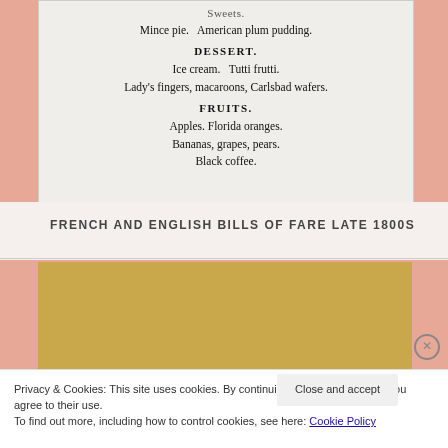[Figure (photo): Scanned page from an old menu or cookbook showing food items listed under Sweets, Dessert, and Fruits sections including Mince pie, American plum pudding, Ice cream, Tutti frutti, Lady's fingers, macaroons, Carlsbad wafers, Apples, Florida oranges, Bananas, grapes, pears, and Black coffee.]
FRENCH AND ENGLISH BILLS OF FARE LATE 1800S
[Figure (photo): Scanned page from an old book showing 'FLOWERS, BILLS OF FARE, AND WINES. 123' in italic text on a tan/golden background.]
Privacy & Cookies: This site uses cookies. By continuing to use this website, you agree to their use.
To find out more, including how to control cookies, see here: Cookie Policy